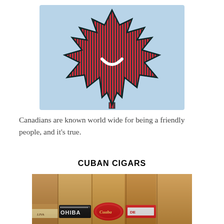[Figure (illustration): A Canadian maple leaf illustration made of coloured vertical stripes (red and dark teal/blue), with a white smiling mouth shape in the centre, on a light blue background.]
Canadians are known world wide for being a friendly people, and it’s true.
CUBAN CIGARS
[Figure (photo): Close-up photo of several Cuban cigars side by side, showing their bands including Cohiba and Cohiba-style bands, in warm brown tobacco tones.]